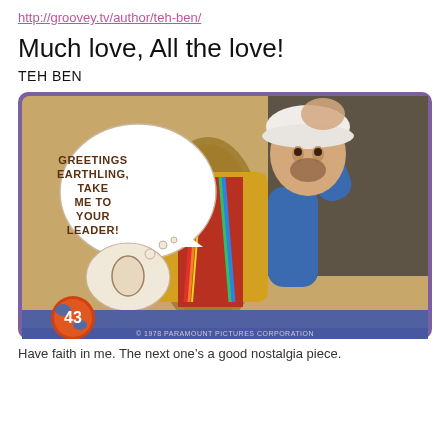http://groovey.tv/author/teh-ben/
Much love, All the love!
TEH BEN
[Figure (photo): A vintage trading card (card #43) showing a man in a rainbow suspenders outfit holding up an egg, with a speech bubble reading 'GREETINGS EARTHLING, TAKE ME TO YOUR LEADER!' and a small thought bubble with an egg shape. Copyright 1978 Paramount Pictures Corporation.]
Have faith in me. The next one’s a good nostalgia piece.